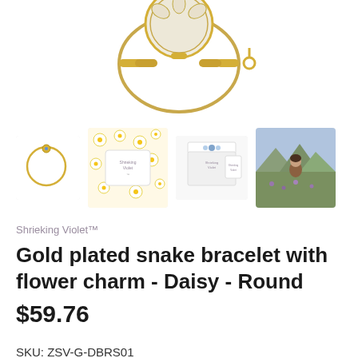[Figure (photo): Top portion of a gold plated snake bracelet with flower charm, shown on white background, partially cropped at top]
[Figure (photo): Four thumbnail images: (1) gold ring bracelet with small round charm, (2) daisy flower pattern background with Shrieking Violet logo, (3) white gift box with blue floral design and Shrieking Violet branding, (4) person outdoors in a field with mountains in background]
Shrieking Violet™
Gold plated snake bracelet with flower charm - Daisy - Round
$59.76
SKU: ZSV-G-DBRS01